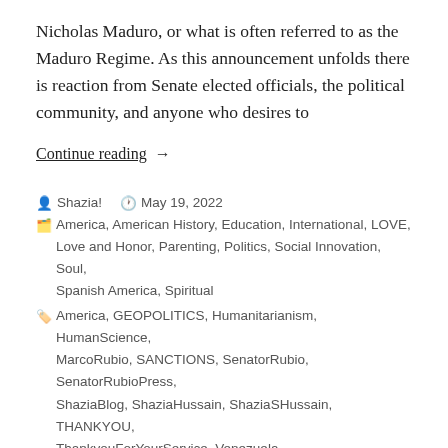Nicholas Maduro, or what is often referred to as the Maduro Regime. As this announcement unfolds there is reaction from Senate elected officials, the political community, and anyone who desires to
Continue reading →
Shazia!  May 19, 2022
America, American History, Education, International, LOVE, Love and Honor, Parenting, Politics, Social Innovation, Soul, Spanish America, Spiritual
America, GEOPOLITICS, Humanitarianism, HumanScience, MarcoRubio, SANCTIONS, SenatorRubio, SenatorRubioPress, ShaziaBlog, ShaziaHussain, ShaziaSHussain, THANKYOU, ThankyouForYourService, Venezuela
Leave a comment